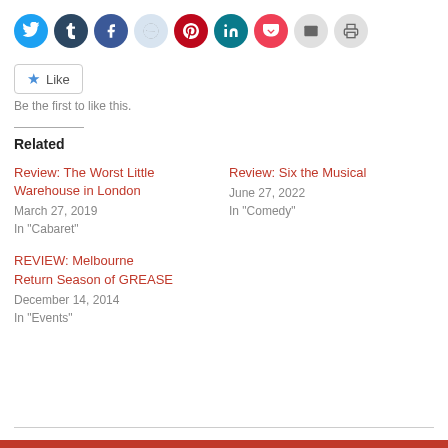[Figure (other): Row of social sharing icon buttons: Twitter (blue), Tumblr (dark navy), Facebook (blue), Reddit (light grey-blue), Pinterest (red), LinkedIn (teal/blue), Pocket (red), Email (grey), Print (grey)]
[Figure (other): WordPress Like button with blue star icon and text 'Like']
Be the first to like this.
Related
Review: The Worst Little Warehouse in London
March 27, 2019
In "Cabaret"
Review: Six the Musical
June 27, 2022
In "Comedy"
REVIEW: Melbourne Return Season of GREASE
December 14, 2014
In "Events"